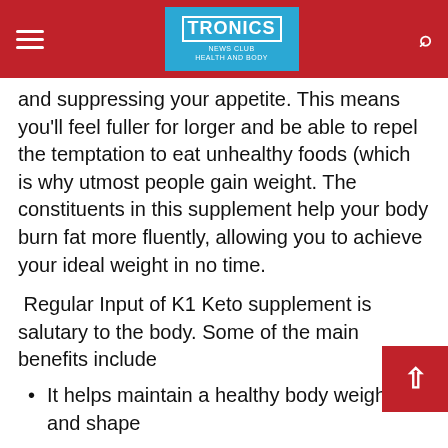TRONICS NEWS CLUB header with hamburger menu and search icon
and suppressing your appetite. This means you'll feel fuller for longer and be able to repel the temptation to eat unhealthy foods (which is why utmost people gain weight. The constituents in this supplement help your body burn fat more fluently, allowing you to achieve your ideal weight in no time.
Regular Input of K1 Keto supplement is salutary to the body. Some of the main benefits include
It helps maintain a healthy body weight and shape
It helps get relieve of stubborn fat around belly and shanks